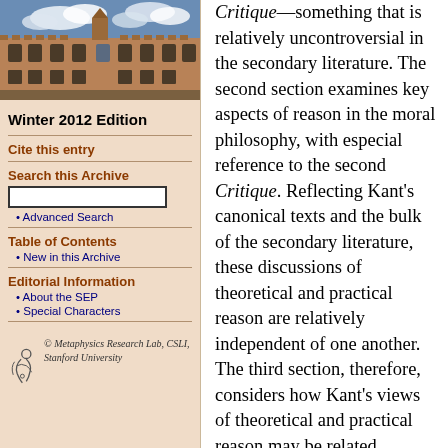[Figure (photo): Photograph of a historic stone university building with Gothic architecture under a partly cloudy sky]
Winter 2012 Edition
Cite this entry
Search this Archive
Advanced Search
Table of Contents
New in this Archive
Editorial Information
About the SEP
Special Characters
© Metaphysics Research Lab, CSLI, Stanford University
Critique—something that is relatively uncontroversial in the secondary literature. The second section examines key aspects of reason in the moral philosophy, with especial reference to the second Critique. Reflecting Kant's canonical texts and the bulk of the secondary literature, these discussions of theoretical and practical reason are relatively independent of one another. The third section, therefore, considers how Kant's views of theoretical and practical reason may be related, emphasising especially the most prominent contemporary interpretation of Kantian reason, that of Onora O'Neill. The concluding remarks emphasise